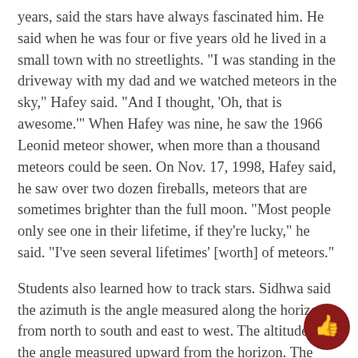years, said the stars have always fascinated him. He said when he was four or five years old he lived in a small town with no streetlights. "I was standing in the driveway with my dad and we watched meteors in the sky," Hafey said. "And I thought, 'Oh, that is awesome.'" When Hafey was nine, he saw the 1966 Leonid meteor shower, when more than a thousand meteors could be seen. On Nov. 17, 1998, Hafey said, he saw over two dozen fireballs, meteors that are sometimes brighter than the full moon. "Most people only see one in their lifetime, if they're lucky," he said. "I've seen several lifetimes' [worth] of meteors."
Students also learned how to track stars. Sidhwa said the azimuth is the angle measured along the horizon from north to south and east to west. The altitude is the angle measured upward from the horizon. The measurements are used to find the location of stars in the sky. Students used their knowledge of the...